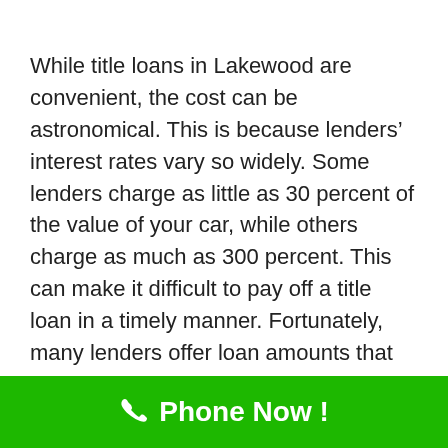While title loans in Lakewood are convenient, the cost can be astronomical. This is because lenders' interest rates vary so widely. Some lenders charge as little as 30 percent of the value of your car, while others charge as much as 300 percent. This can make it difficult to pay off a title loan in a timely manner. Fortunately, many lenders offer loan amounts that are within reach of many consumers' needs.
Phone Now !